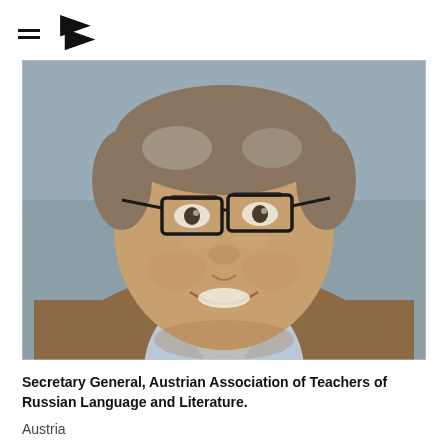≡ [logo]
[Figure (photo): Headshot portrait of a middle-aged man with glasses, short grey-brown hair, wearing a brown blazer and light blue shirt, smiling, photographed against a blurred grey-blue background.]
Secretary General, Austrian Association of Teachers of Russian Language and Literature.
Austria